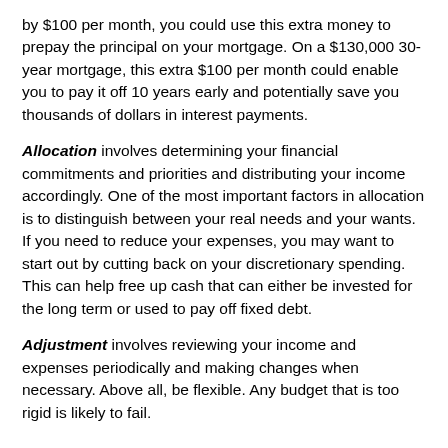by $100 per month, you could use this extra money to prepay the principal on your mortgage. On a $130,000 30-year mortgage, this extra $100 per month could enable you to pay it off 10 years early and potentially save you thousands of dollars in interest payments.
Allocation involves determining your financial commitments and priorities and distributing your income accordingly. One of the most important factors in allocation is to distinguish between your real needs and your wants. If you need to reduce your expenses, you may want to start out by cutting back on your discretionary spending. This can help free up cash that can either be invested for the long term or used to pay off fixed debt.
Adjustment involves reviewing your income and expenses periodically and making changes when necessary. Above all, be flexible. Any budget that is too rigid is likely to fail.